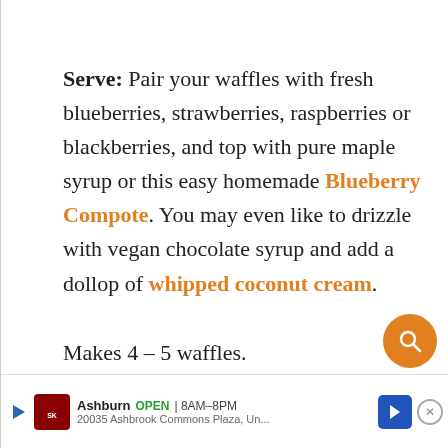Serve: Pair your waffles with fresh blueberries, strawberries, raspberries or blackberries, and top with pure maple syrup or this easy homemade Blueberry Compote. You may even like to drizzle with vegan chocolate syrup and add a dollop of whipped coconut cream. Makes 4 – 5 waffles.
Sto... ...refri... the